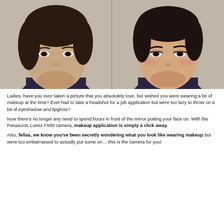[Figure (photo): Side-by-side before-and-after photos showing a person without makeup (left) and with makeup applied (right), both wearing a dark purple turtleneck, photographed from shoulders up against a neutral beige/grey background.]
Ladies, have you ever taken a picture that you absolutely love, but wished you were wearing a bit of makeup at the time?  Ever had to take a headshot for a job application but were too lazy to throw on a bit of eyeshadow and lipgloss?
Now there's no longer any need to spend hours in front of the mirror putting your face on.  With the Panasonic Lumix FX80 camera, makeup application is simply a click away.
Also, fellas, we know you've been secretly wondering what you look like wearing makeup but were too embarrassed to actually put some on… this is the camera for you!